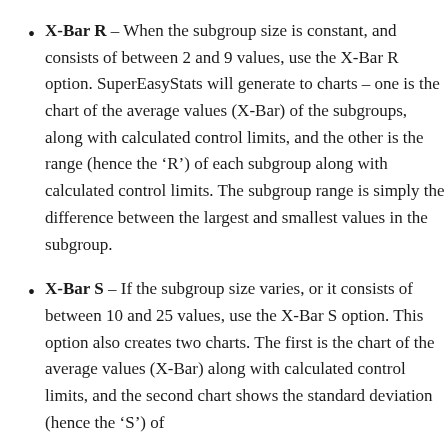X-Bar R – When the subgroup size is constant, and consists of between 2 and 9 values, use the X-Bar R option. SuperEasyStats will generate to charts – one is the chart of the average values (X-Bar) of the subgroups, along with calculated control limits, and the other is the range (hence the 'R') of each subgroup along with calculated control limits. The subgroup range is simply the difference between the largest and smallest values in the subgroup.
X-Bar S – If the subgroup size varies, or it consists of between 10 and 25 values, use the X-Bar S option. This option also creates two charts. The first is the chart of the average values (X-Bar) along with calculated control limits, and the second chart shows the standard deviation (hence the 'S') of